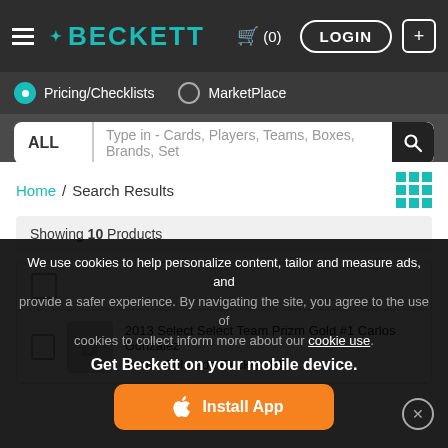BECKETT — Navigation bar with cart (0), LOGIN, and add button
Pricing/Checklists  MarketPlace
ALL  Type in - Cards, Players, Teams, Boxes, Brands, Set
Home / Search Results
Showing 10 Products
2013 Select Select Team Prizm Gold #1 Carlos Gonzalez Team: Colorado Rockies BB
We use cookies to help personalize content, tailor and measure ads, and provide a safer experience. By navigating the site, you agree to the use of cookies to collect information more about our cookie use.
Get Beckett on your mobile device.
Install App